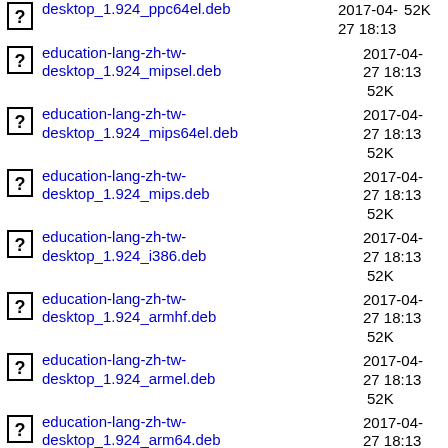desktop_1.924_ppc64el.deb  2017-04-27 18:13  52K
education-lang-zh-tw-desktop_1.924_mipsel.deb  2017-04-27 18:13  52K
education-lang-zh-tw-desktop_1.924_mips64el.deb  2017-04-27 18:13  52K
education-lang-zh-tw-desktop_1.924_mips.deb  2017-04-27 18:13  52K
education-lang-zh-tw-desktop_1.924_i386.deb  2017-04-27 18:13  52K
education-lang-zh-tw-desktop_1.924_armhf.deb  2017-04-27 18:13  52K
education-lang-zh-tw-desktop_1.924_armel.deb  2017-04-27 18:13  52K
education-lang-zh-tw-desktop_1.924_arm64.deb  2017-04-27 18:13  52K
education-lang-zh-tw-desktop_1.924_amd64.deb  2017-04-27 18:13  52K
education-lang-zh-tw-desktop-kde_1.924_s390x.deb  2017-04-27 18:13  52K
education-lang-zh-tw-desktop-kde_1.924_ppc64el.deb  2017-04-27 18:13  52K
education-lang-zh-tw-desktop-kde_1.924_mipsel.deb  2017-04-27 18:13  52K